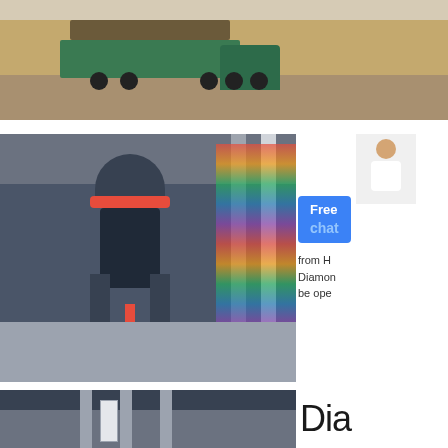[Figure (photo): A large dump truck loaded with material driving along a road beside a high sandy/rocky quarry wall. Industrial mining site setting.]
[Figure (photo): Industrial grinding mill machine (vertical roller mill) inside a large factory or exhibition hall. International flags visible in the background. Safety striped floor markings. Columns and structural steel visible.]
[Figure (illustration): Chat widget UI element showing a female presenter figure and a blue button labeled 'Free chat'.]
from H... Diamond... be ope...
[Figure (photo): Interior of an industrial building or exhibition hall showing structural columns and ceiling framework.]
Dia